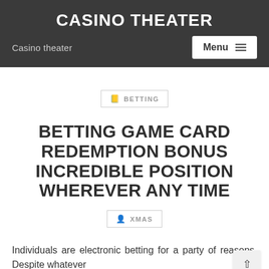CASINO THEATER
Casino theater
Menu ≡
BETTING
BETTING GAME CARD REDEMPTION BONUS INCREDIBLE POSITION WHEREVER ANY TIME
XMAS
Individuals are electronic betting for a party of reasons. Despite whatever